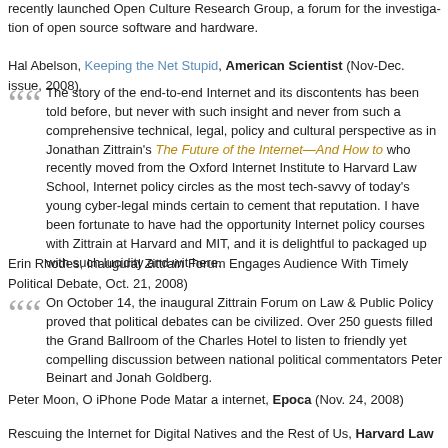recently launched Open Culture Research Group, a forum for the investigation of open source software and hardware.
Hal Abelson, Keeping the Net Stupid, American Scientist (Nov-Dec. issue, 2008)
The story of the end-to-end Internet and its discontents has been told before, but never with such insight and never from such a comprehensive technical, legal, policy and cultural perspective as in Jonathan Zittrain's The Future of the Internet—And How to Stop It. Zittrain, who recently moved from the Oxford Internet Institute to Harvard Law School, is known in Internet policy circles as the most tech-savvy of today's young cyber-legal minds, and this book is certain to cement that reputation. I have been fortunate to have had the opportunity to take Internet policy courses with Zittrain at Harvard and MIT, and it is delightful to see his thinking packaged up with such lucidity and wit here.
Erin Rhodes, Inaugural Zittrain Forum Engages Audience With Timely Political Debate, Oct. 21, 2008)
On October 14, the inaugural Zittrain Forum on Law & Public Policy proved that political debates can be civilized. Over 250 guests filled the Grand Ballroom of the Charles Hotel to listen to friendly yet compelling discussion between national political commentators Peter Beinart and Jonah Goldberg.
Peter Moon, O iPhone Pode Matar a internet, Epoca (Nov. 24, 2008)
Rescuing the Internet for Digital Natives and the Rest of Us, Harvard Law Bulletin (